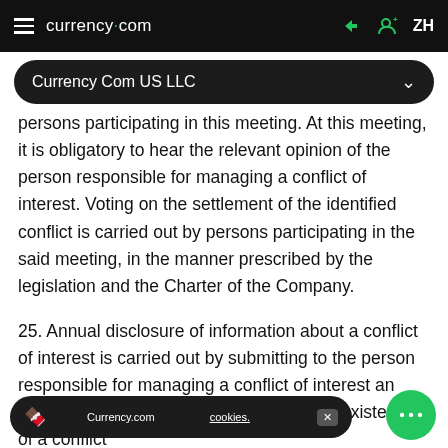currency.com  ZH
Currency Com US LLC
persons participating in this meeting. At this meeting, it is obligatory to hear the relevant opinion of the person responsible for managing a conflict of interest. Voting on the settlement of the identified conflict is carried out by persons participating in the said meeting, in the manner prescribed by the legislation and the Charter of the Company.
25. Annual disclosure of information about a conflict of interest is carried out by submitting to the person responsible for managing a conflict of interest an annual notification of the existence or nonexistence of a conflict of interest as follows.
Currency.com cookies.